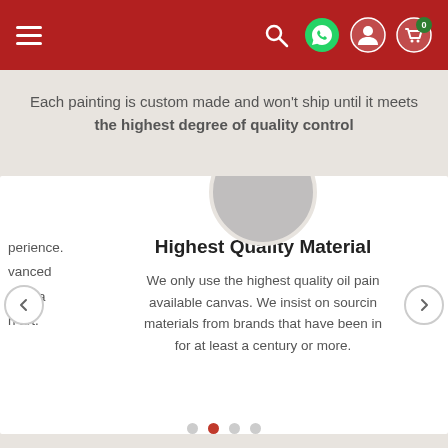[Figure (screenshot): Red navigation bar with hamburger menu on left and icons (search, WhatsApp, user, cart with 0 badge) on right]
Each painting is custom made and won't ship until it meets the highest degree of quality control
[Figure (screenshot): Carousel slide showing a gray avatar circle placeholder, title 'Highest Quality Materials', and description text about using highest quality oil paints and canvas from century-old brands. Left and right navigation arrows visible. Left partial slide showing text fragments. Dot pagination below.]